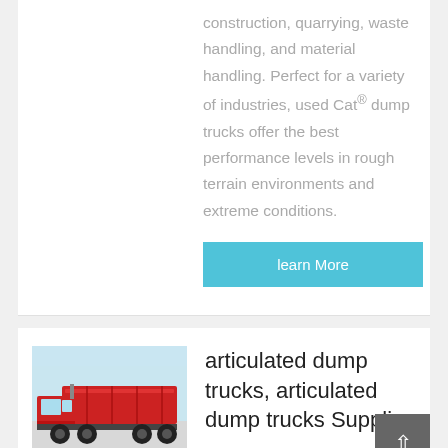construction, quarrying, waste handling, and material handling. Perfect for a variety of industries, used Cat® dump trucks offer the best performance levels in rough terrain environments and extreme conditions.
learn More
[Figure (photo): Red articulated dump truck photographed from the side against a light blue/grey sky background.]
articulated dump trucks, articulated dump trucks Suppliers